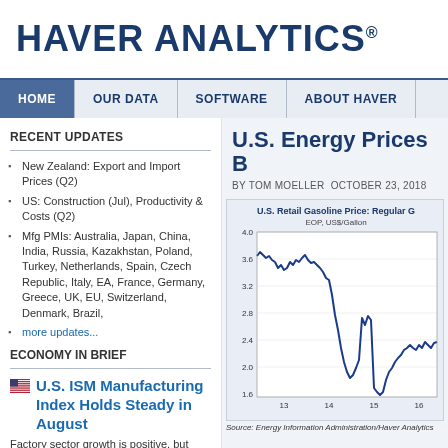HAVER ANALYTICS®
HOME | OUR DATA | SOFTWARE | ABOUT HAVER
RECENT UPDATES
New Zealand: Export and Import Prices (Q2)
US: Construction (Jul), Productivity & Costs (Q2)
Mfg PMIs: Australia, Japan, China, India, Russia, Kazakhstan, Poland, Turkey, Netherlands, Spain, Czech Republic, Italy, EA, France, Germany, Greece, UK, EU, Switzerland, Denmark, Brazil,
more updates...
ECONOMY IN BRIEF
U.S. ISM Manufacturing Index Holds Steady in August
Factory sector growth is positive, but subdued...
U.S. Energy Prices B
BY TOM MOELLER  OCTOBER 23, 2018
[Figure (line-chart): Line chart showing U.S. retail gasoline price from ~2013 to 2016+, starting around 3.6, dropping to ~2.0 around 2015, then recovering slightly to ~2.3-2.4]
Source: Energy Information Administration/Haver Analytics